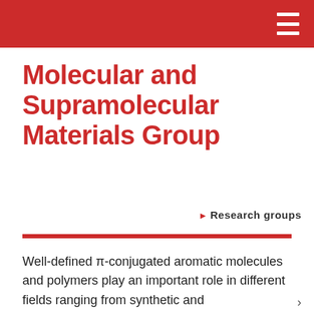Molecular and Supramolecular Materials Group
Research groups
Well-defined π-conjugated aromatic molecules and polymers play an important role in different fields ranging from synthetic and supramolecular chemistry to materials science. Their chemical structure and extended conjugation provides specific optoelectronic properties and facilitate control over